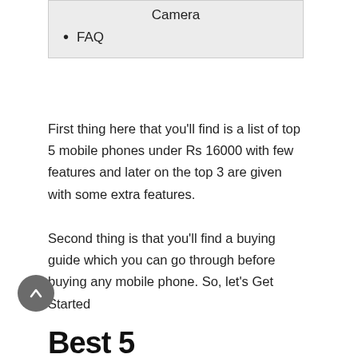Camera
FAQ
First thing here that you'll find is a list of top 5 mobile phones under Rs 16000 with few features and later on the top 3 are given with some extra features.
Second thing is that you'll find a buying guide which you can go through before buying any mobile phone. So, let's Get Started
Best 5